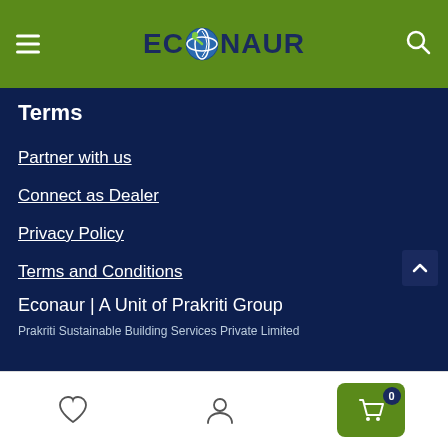ECONAUR
Terms
Partner with us
Connect as Dealer
Privacy Policy
Terms and Conditions
Econaur | A Unit of Prakriti Group
Prakriti Sustainable Building Services Private Limited